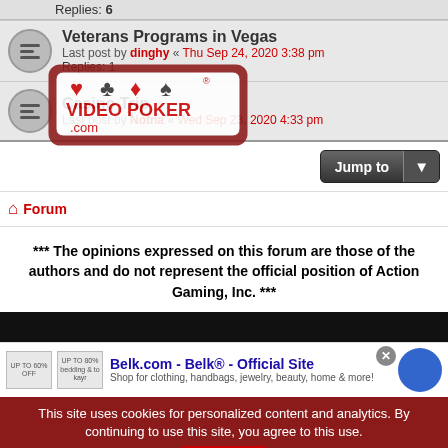Replies: 6
Veterans Programs in Vegas
Last post by dinghy « Thu Sep 24, 2020 3:38 pm
Replies: 1
[Figure (logo): VideoPoker.com watermark logo with card suits]
Casino Trip
Last post by Notna « Wed Sep 23, 2020 4:33 pm
Jump to
Forum
*** The opinions expressed on this forum are those of the authors and do not represent the official position of Action Gaming, Inc. ***
Belk.com - Belk® - Official Site
Shop for clothing, handbags, jewelry, beauty, home & more!
This site uses cookies for personalized content and analytics. By continuing to use this site, you agree to this use.
Close